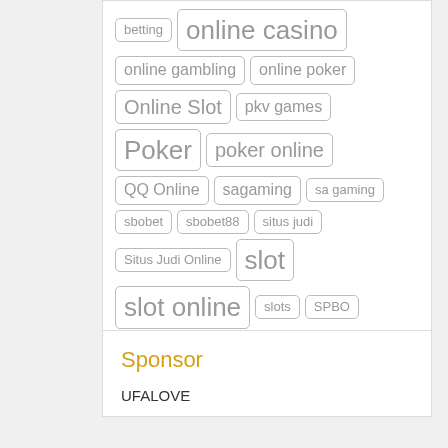betting, online casino, online gambling, online poker, Online Slot, pkv games, Poker, poker online, QQ Online, sagaming, sa gaming, sbobet, sbobet88, situs judi, Situs Judi Online, slot, slot online, slots, SPBO, Sports Betting, swiss casino, toto, ufabet, w88, ยูฟ่าเบท
Sponsor
UFALOVE